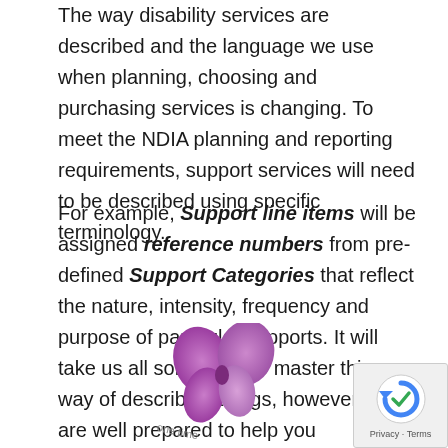The way disability services are described and the language we use when planning, choosing and purchasing services is changing. To meet the NDIA planning and reporting requirements, support services will need to be described using specific terminology.
For example, Support line items will be assigned reference numbers from pre-defined Support Categories that reflect the nature, intensity, frequency and purpose of particular supports. It will take us all some time to master this new way of describing things, however we are well prepared to help you understand what to look out for.
[Figure (logo): Butterfly logo in purple/pink gradient with curved text 'one ... time' beneath it — appears to be a disability services organization logo]